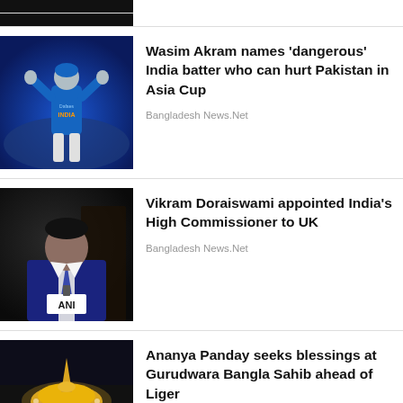[Figure (photo): Partial dark image visible at top of page (cropped news thumbnail)]
[Figure (photo): Indian cricket player in blue jersey with arms raised celebrating, crowd in background]
Wasim Akram names 'dangerous' India batter who can hurt Pakistan in Asia Cup
Bangladesh News.Net
[Figure (photo): Man in suit speaking at a press conference with ANI microphone, dark background]
Vikram Doraiswami appointed India's High Commissioner to UK
Bangladesh News.Net
[Figure (photo): Golden temple (Gurudwara Bangla Sahib) illuminated at night, partial view]
Ananya Panday seeks blessings at Gurudwara Bangla Sahib ahead of Liger